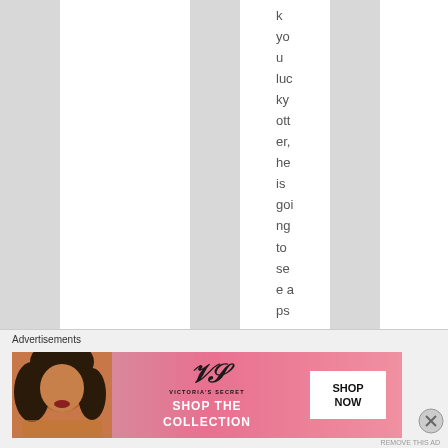k you lucky otter, he is going to see a psychia
Advertisements
[Figure (illustration): Victoria's Secret advertisement banner with model photo, VS logo, SHOP THE COLLECTION text, and SHOP NOW button]